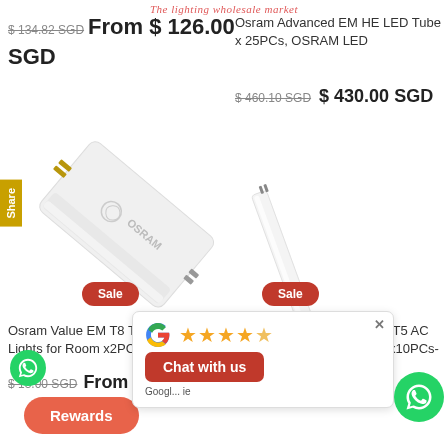The lighting wholesale market
$ 134.82 SGD  From $ 126.00 SGD
Osram Advanced EM HE LED Tube x 25PCs, OSRAM LED
$ 460.10 SGD  $ 430.00 SGD
[Figure (photo): OSRAM LED tube lamp shown diagonally with gold pin ends and OSRAM branding, Sale badge]
[Figure (photo): Slim LED tube lamp shown diagonally, Sale badge]
Osram Value EM T8 Tube LED Lights for Room x2PCs
$ 13.00 SGD  From $ 12.0...
Osram LED Tube Advanced T5 AC (T5 54W HO Replacement) x10PCs- LED
[Figure (screenshot): Google review popup with stars and Chat with us button, WhatsApp icon]
Rewards